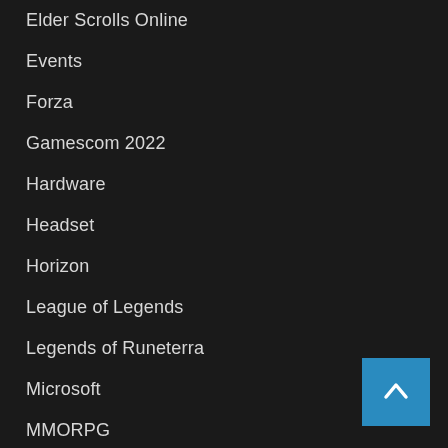Elder Scrolls Online
Events
Forza
Gamescom 2022
Hardware
Headset
Horizon
League of Legends
Legends of Runeterra
Microsoft
MMORPG
Mobile Gaming
Momentum
Mouse